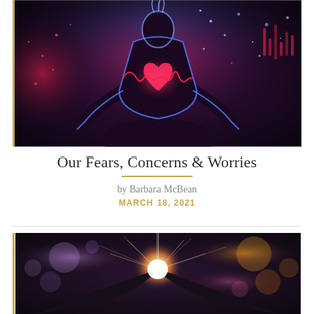[Figure (photo): A meditating figure silhouette with glowing neon blue and red energy lines and sparkles on a dark background, with a glowing red heart shape at the chest]
Our Fears, Concerns & Worries
by Barbara McBean
MARCH 18, 2021
[Figure (photo): Hands cupping a bright glowing light source with bokeh lights in the background, purple and orange tones]